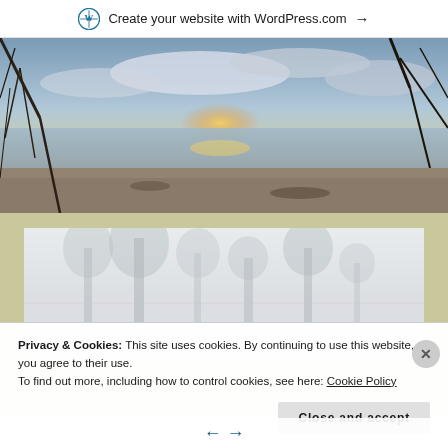Create your website with WordPress.com →
[Figure (photo): Panoramic coastal beach scene at sunset/sunrise with drooping tree branches in foreground, calm water reflecting golden light, cloudy sky]
[Figure (photo): Misty landscape photo showing trees reflected in water, very pale grey-white foggy tones]
Privacy & Cookies: This site uses cookies. By continuing to use this website, you agree to their use.
To find out more, including how to control cookies, see here: Cookie Policy
Close and accept